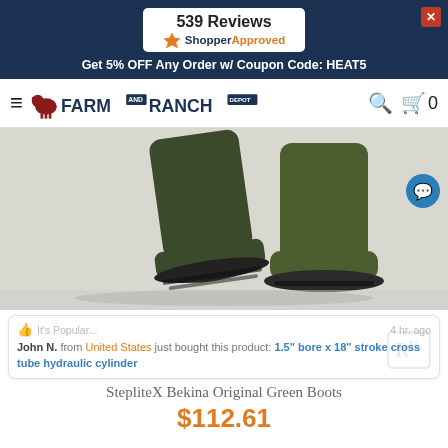539 Reviews
ShopperApproved
Get 5% OFF Any Order w/ Coupon Code: HEAT5
[Figure (logo): Farm and Ranch Depot logo with cow icon, search icon, and cart with 0 items]
[Figure (photo): StepliteX Bekina Original Green Boots product photo showing dark green rubber boots with black soles]
It's Popular... 4 hr. ago
John N. from United States just bought this product: 1.5" bore x 18" stroke cross tube hydraulic cylinder
StepliteX Bekina Original Green Boots
$112.61